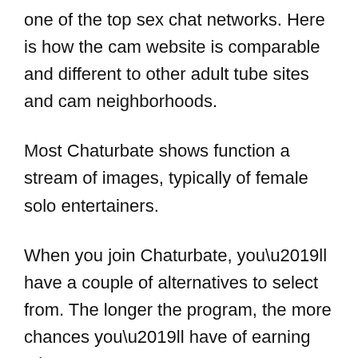one of the top sex chat networks. Here is how the cam website is comparable and different to other adult tube sites and cam neighborhoods.
Most Chaturbate shows function a stream of images, typically of female solo entertainers.
When you join Chaturbate, you’ll have a couple of alternatives to select from. The longer the program, the more chances you’ll have of earning tokens.